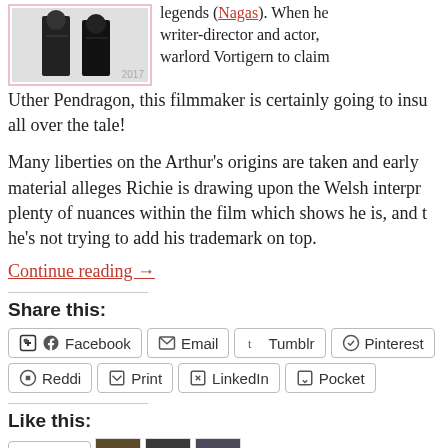[Figure (photo): Black and white photo of two people, year label 2017, inside a pink-bordered frame]
legends (Nagas). When he writer-director and actor, warlord Vortigern to claim Uther Pendragon, this filmmaker is certainly going to insu all over the tale!
Many liberties on the Arthur's origins are taken and early material alleges Richie is drawing upon the Welsh interpr plenty of nuances within the film which shows he is, and he's not trying to add his trademark on top.
Continue reading →
Share this:
Facebook  Email  Tumblr  Pinterest  Reddi  Print  LinkedIn  Pocket
Like this:
Like
3 bloggers like this.